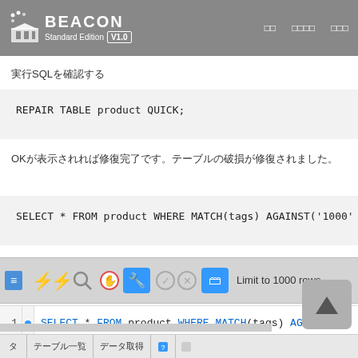BEACON Standard Edition V1.0
実行SQLを確認する
OKが表示されれば修復完了です。テーブルの破損が修復されました。
[Figure (screenshot): MySQL Workbench toolbar with icons and 'Limit to 1000 rows' label]
1  SELECT * FROM product WHERE MATCH(tags) AGA
タブバー底部ナビゲーション